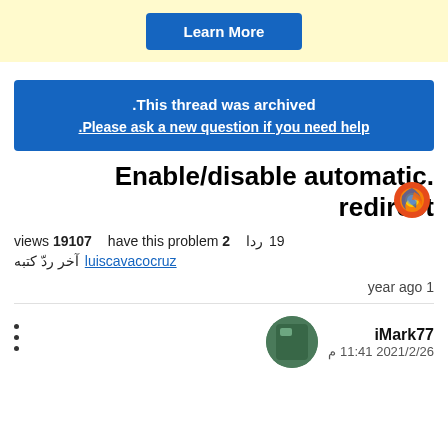[Figure (screenshot): Yellow banner with a blue 'Learn More' button]
This thread was archived. Please ask a new question if you need help.
[Figure (logo): Firefox logo icon]
.Enable/disable automatic redirect
views 19107  have this problem 2  ردا 19
آخر ردّ كتبه luiscavacocruz
year ago 1
iMark77
2021/2/26 11:41 م